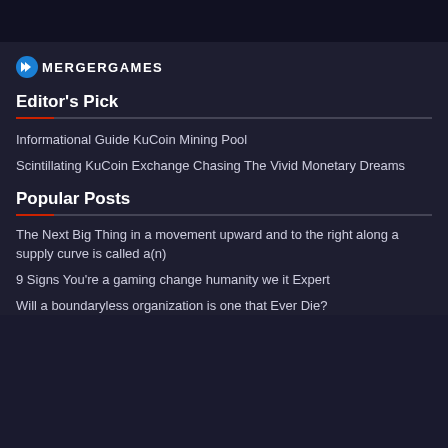[Figure (logo): MergerGames logo with blue chevron/arrow icon and text MERGERGAMES in white uppercase]
Editor's Pick
Informational Guide KuCoin Mining Pool
Scintillating KuCoin Exchange Chasing The Vivid Monetary Dreams
Popular Posts
The Next Big Thing in a movement upward and to the right along a supply curve is called a(n)
9 Signs You're a gaming change humanity we it Expert
Will a boundaryless organization is one that Ever Die?